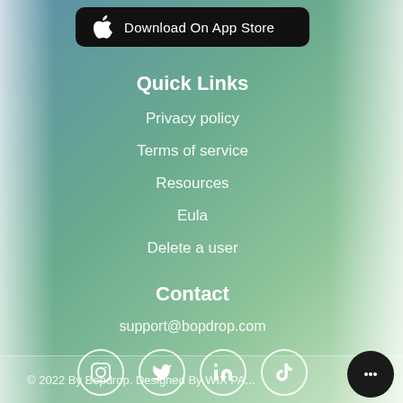[Figure (other): Download On App Store button with Apple logo on black rounded rectangle background]
Quick Links
Privacy policy
Terms of service
Resources
Eula
Delete a user
Contact
support@bopdrop.com
[Figure (other): Social media icons: Instagram, Twitter, LinkedIn, TikTok — white circle outlines on gradient background]
© 2022 By Bopdrop. Designed By WIX PA...